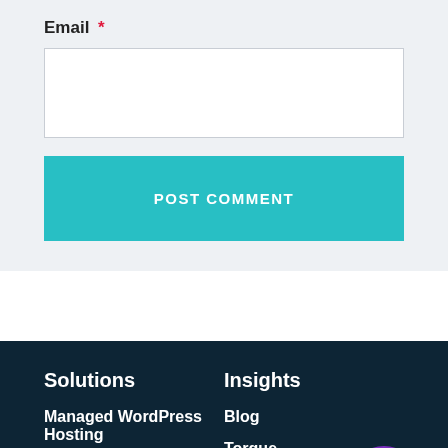Email *
POST COMMENT
Solutions
Insights
Managed WordPress Hosting
WooCommerce Hosting
Blog
Torque
Velocitize